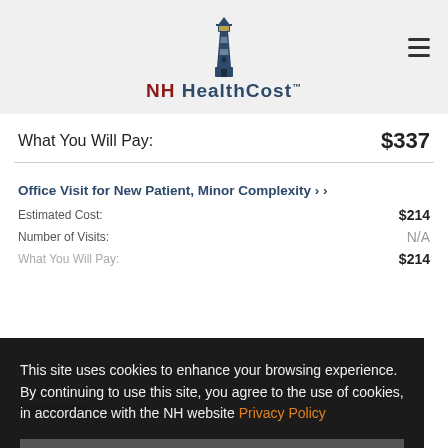[Figure (logo): NH HealthCost lighthouse logo with text]
What You Will Pay: $337
Office Visit for New Patient, Minor Complexity ›
Estimated Cost: $214
Number of Visits: N/A
What You Will Pay: $214
This site uses cookies to enhance your browsing experience. By continuing to use this site, you agree to the use of cookies, in accordance with the NH website Privacy Policy
OK ✓
Office Visit for New Patient, Moderate Complexity